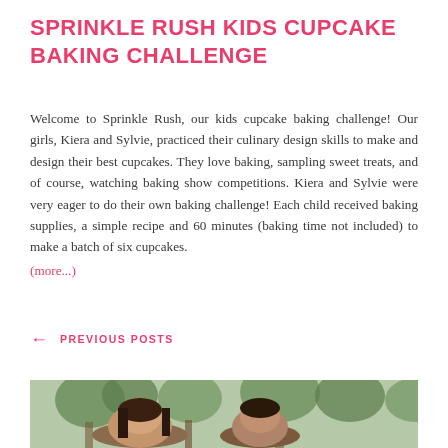SPRINKLE RUSH KIDS CUPCAKE BAKING CHALLENGE
Welcome to Sprinkle Rush, our kids cupcake baking challenge! Our girls, Kiera and Sylvie, practiced their culinary design skills to make and design their best cupcakes. They love baking, sampling sweet treats, and of course, watching baking show competitions. Kiera and Sylvie were very eager to do their own baking challenge! Each child received baking supplies, a simple recipe and 60 minutes (baking time not included) to make a batch of six cupcakes.
(more...)
← PREVIOUS POSTS
[Figure (photo): Outdoor photo of two people (a man and a woman) standing together with trees/greenery in the background, partially cropped at bottom of page.]